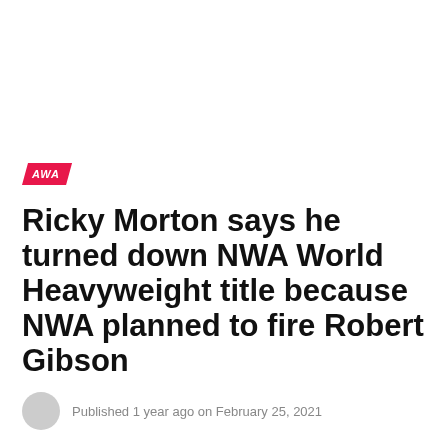AWA
Ricky Morton says he turned down NWA World Heavyweight title because NWA planned to fire Robert Gibson
Published 1 year ago on February 25, 2021